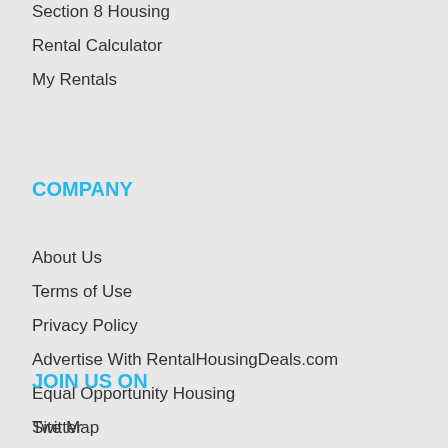Section 8 Housing
Rental Calculator
My Rentals
COMPANY
About Us
Terms of Use
Privacy Policy
Advertise With RentalHousingDeals.com
Equal Opportunity Housing
Site Map
Housing FAQ
Contact
Disclaimer
JOIN US ON
Twitter
Facebook